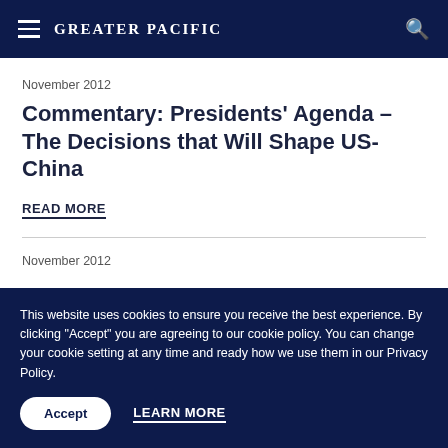Greater Pacific
November 2012
Commentary: Presidents' Agenda – The Decisions that Will Shape US-China
READ MORE
November 2012
This website uses cookies to ensure you receive the best experience. By clicking "Accept" you are agreeing to our cookie policy. You can change your cookie setting at any time and ready how we use them in our Privacy Policy.
Accept
LEARN MORE